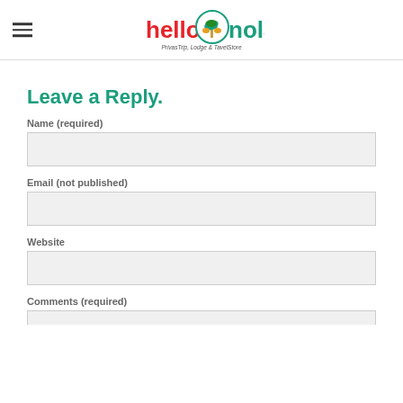hello'nolan — PrivasTrip, Lodge & TavelStore
Leave a Reply.
Name (required)
Email (not published)
Website
Comments (required)